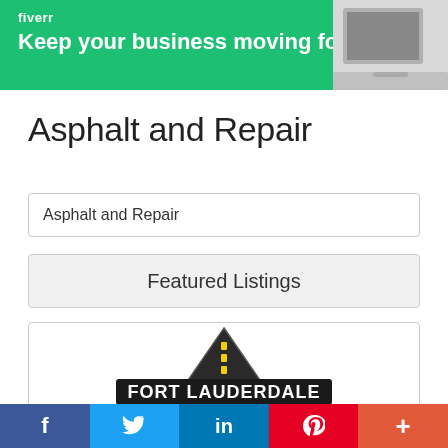[Figure (screenshot): Fiverr advertisement banner with green background, Fiverr logo, tagline 'Keep your business moving forward', and laptop image on right]
Asphalt and Repair
Asphalt and Repair
Featured Listings
[Figure (logo): Fort Lauderdale asphalt road logo with road perspective and text FORT LAUDERDALE]
f  Twitter  in  Pinterest  +